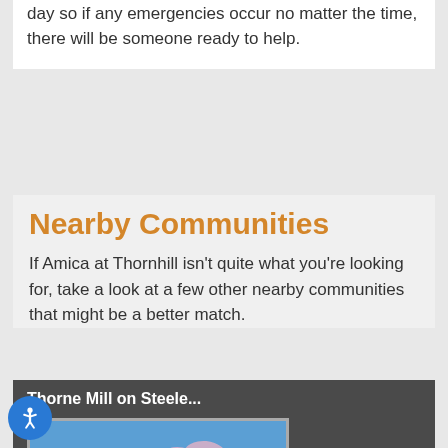day so if any emergencies occur no matter the time, there will be someone ready to help.
Nearby Communities
If Amica at Thornhill isn't quite what you're looking for, take a look at a few other nearby communities that might be a better match.
Thorne Mill on Steele...
[Figure (photo): Photo of pink cherry blossom flowers against a blue sky]
484 Steeles Ave West, Thor...
0 km away.
Four Elms Retirement...